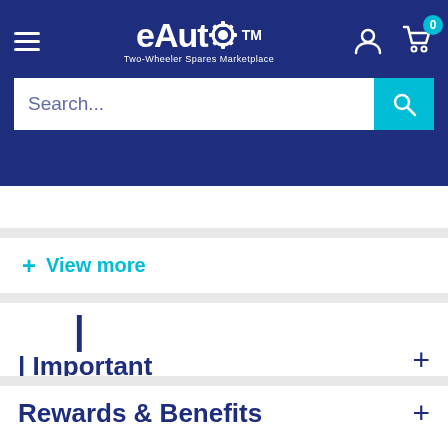eAuto™ Two-Wheeler Spares Marketplace
[Figure (screenshot): eAuto navigation header with hamburger menu, logo, user icon, and cart with badge 0]
[Figure (screenshot): Search bar with placeholder text 'Search...' and cyan search button]
+ View more
| Important Carburetor Information
Rewards & Benefits